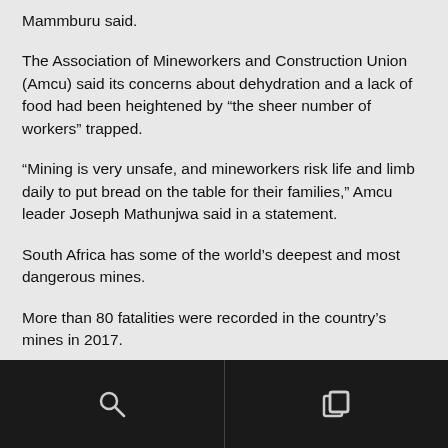Mammburu said.
The Association of Mineworkers and Construction Union (Amcu) said its concerns about dehydration and a lack of food had been heightened by “the sheer number of workers” trapped.
“Mining is very unsafe, and mineworkers risk life and limb daily to put bread on the table for their families,” Amcu leader Joseph Mathunjwa said in a statement.
South Africa has some of the world’s deepest and most dangerous mines.
More than 80 fatalities were recorded in the country’s mines in 2017.
[Figure (other): Dark footer navigation bar with a search icon on the left and a copy/layers icon on the right, separated by a vertical divider.]